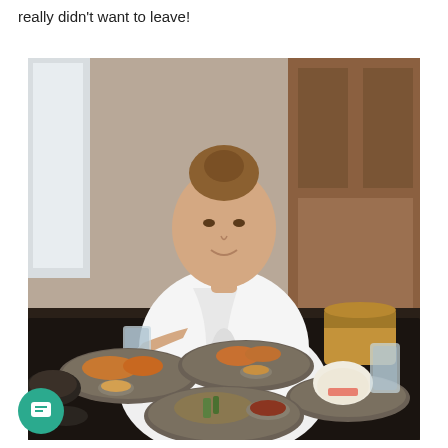really didn't want to leave!
[Figure (photo): A woman wearing a white bathrobe sits at a restaurant table filled with multiple plates of Asian food including fried items, rice, dumplings, bao buns, a bamboo steamer, and beverages. She is holding a glass and smiling at the camera. The restaurant has wooden decor in the background.]